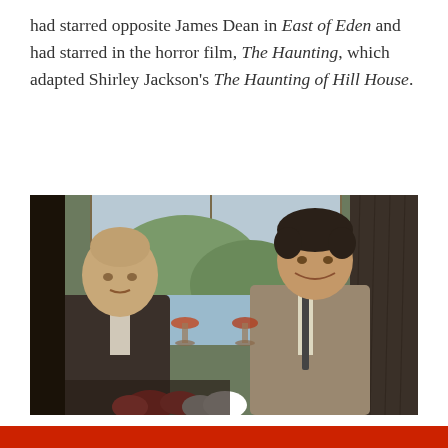had starred opposite James Dean in East of Eden and had starred in the horror film, The Haunting, which adapted Shirley Jackson's The Haunting of Hill House.
[Figure (photo): A still from a film or TV show showing two men in an interior scene. One man on the left is balding and wearing a dark suit; the other on the right has curly dark hair and is wearing a light trench coat and tie. Both are holding wine glasses and appear to be toasting. There are flowers and a window with curtains in the background.]